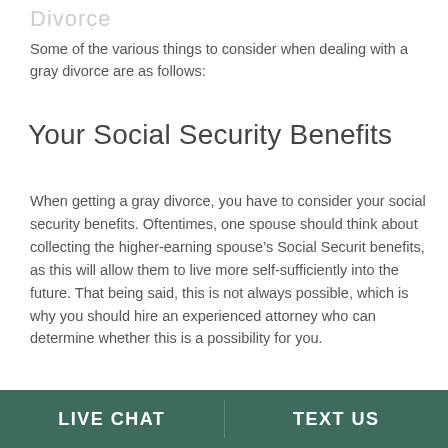Divorce
Some of the various things to consider when dealing with a gray divorce are as follows:
Your Social Security Benefits
When getting a gray divorce, you have to consider your social security benefits. Oftentimes, one spouse should think about collecting the higher-earning spouse’s Social Securit benefits, as this will allow them to live more self-sufficiently into the future. That being said, this is not always possible, which is why you should hire an experienced attorney who can determine whether this is a possibility for you.
LIVE CHAT | TEXT US